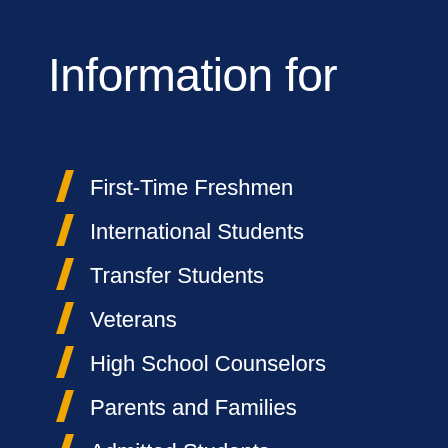Information for
First-Time Freshmen
International Students
Transfer Students
Veterans
High School Counselors
Parents and Families
Admitted Students